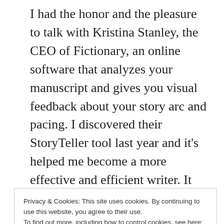I had the honor and the pleasure to talk with Kristina Stanley, the CEO of Fictionary, an online software that analyzes your manuscript and gives you visual feedback about your story arc and pacing. I discovered their StoryTeller tool last year and it's helped me become a more effective and efficient writer. It doesn't take the place of human writers and editors, but it's a powerful tool in the writer's toolbox.
In this YouTube video, Kristina and I talk about A
Privacy & Cookies: This site uses cookies. By continuing to use this website, you agree to their use. To find out more, including how to control cookies, see here: Cookie Policy
Close and accept
Zoom had the option for filters. A little digital